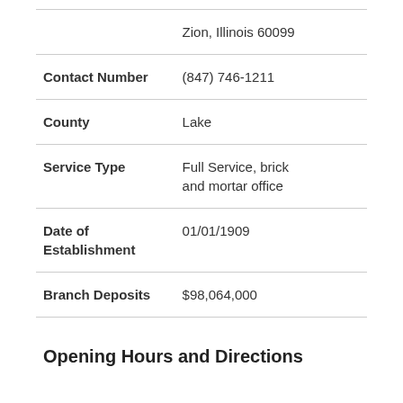|  | Zion, Illinois 60099 |
| Contact Number | (847) 746-1211 |
| County | Lake |
| Service Type | Full Service, brick and mortar office |
| Date of Establishment | 01/01/1909 |
| Branch Deposits | $98,064,000 |
Opening Hours and Directions